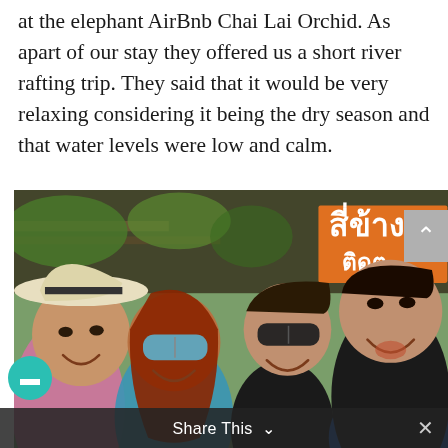at the elephant AirBnb Chai Lai Orchid. As apart of our stay they offered us a short river rafting trip. They said that it would be very relaxing considering it being the dry season and that water levels were low and calm.
[Figure (photo): Group selfie of four people smiling outdoors in front of a market stall with Thai signage. From left: a woman in a white sun hat, a woman with red hair and mirrored sunglasses, a young man in a black t-shirt with sunglasses, and a Thai man in a black jacket with a blue scarf.]